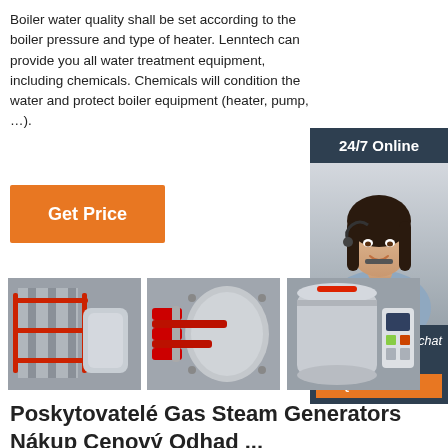Boiler water quality shall be set according to the boiler pressure and type of heater. Lenntech can provide you all water treatment equipment, including chemicals. Chemicals will condition the water and protect boiler equipment (heater, pump, …).
[Figure (other): Orange 'Get Price' button]
[Figure (photo): Sidebar advertisement with '24/7 Online' header, photo of a woman with headset, 'Click here for free chat!' text and orange QUOTATION button on dark navy background]
[Figure (photo): Three photos of industrial boiler/steam generator equipment side by side]
Poskytovatelé Gas Steam Generators Nákup Cenový Odhad ...
Projděte si 24 potenciálních dodavatelů v sektoru gas steam generators na Europages, mezinárodní